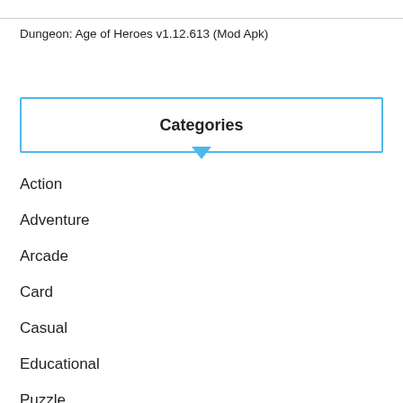Dungeon: Age of Heroes v1.12.613 (Mod Apk)
Categories
Action
Adventure
Arcade
Card
Casual
Educational
Puzzle
Racing
Role Playing